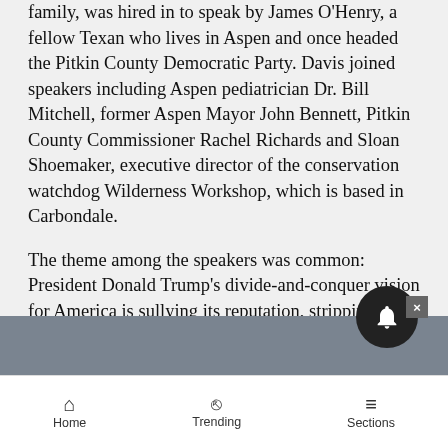family, was hired in to speak by James O'Henry, a fellow Texan who lives in Aspen and once headed the Pitkin County Democratic Party. Davis joined speakers including Aspen pediatrician Dr. Bill Mitchell, former Aspen Mayor John Bennett, Pitkin County Commissioner Rachel Richards and Sloan Shoemaker, executive director of the conservation watchdog Wilderness Workshop, which is based in Carbondale.
The theme among the speakers was common: President Donald Trump's divide-and-conquer vision for America is sullying its reputation, stripping away basic human rights, tarnishing the environment and possibly leading it to war with North Korea.
[Figure (other): Dark gray navigation bar overlay with notification bell button (dark circle with white bell icon) and a close button (X)]
Home   Trending   Sections